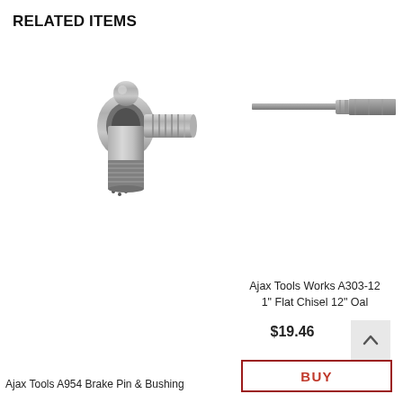RELATED ITEMS
[Figure (photo): Metal T-shaped brake pin and bushing connector fitting, chrome/silver finish]
[Figure (photo): Flat chisel tool, gray metal, long narrow shaft with flat wide tip, Ajax Tools Works A303-12]
Ajax Tools Works A303-12 1" Flat Chisel 12" Oal
$19.46
BUY
Ajax Tools A954 Brake Pin & Bushing